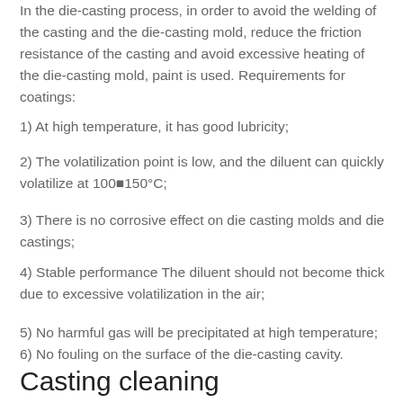In the die-casting process, in order to avoid the welding of the casting and the die-casting mold, reduce the friction resistance of the casting and avoid excessive heating of the die-casting mold, paint is used. Requirements for coatings:
1) At high temperature, it has good lubricity;
2) The volatilization point is low, and the diluent can quickly volatilize at 100~150°C;
3) There is no corrosive effect on die casting molds and die castings;
4) Stable performance The diluent should not become thick due to excessive volatilization in the air;
5) No harmful gas will be precipitated at high temperature;
6) No fouling on the surface of the die-casting cavity.
Casting cleaning
The cleaning of castings is a very heavy work, and the workload is often 10 to 15 times that of die casting. Therefore, as the